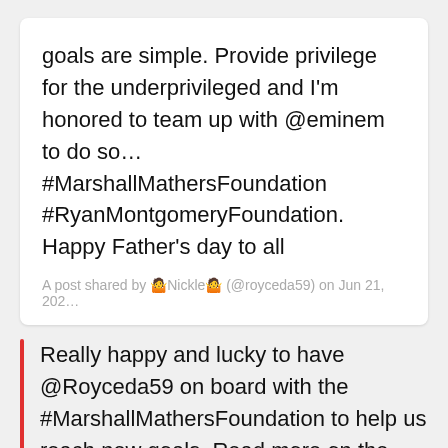goals are simple. Provide privilege for the underprivileged and I'm honored to team up with @eminem to do so… #MarshallMathersFoundation #RyanMontgomeryFoundation. Happy Father's day to all
A post shared by 🤷Nickle🤷 (@royceda59) on Jun 21, 202…
Really happy and lucky to have @Royceda59 on board with the #MarshallMathersFoundation to help us reach new goals. Read more on the site. https://t.co/biVUFiCRUF